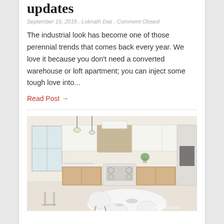updates
September 15, 2019 , Loknath Das , Comment Closed
The industrial look has become one of those perennial trends that comes back every year. We love it because you don't need a converted warehouse or loft apartment; you can inject some tough love into...
Read Post →
[Figure (photo): Modern Scandinavian-style kitchen with white cabinets, natural wood lower cabinets, a white range, pendant lights, and a white dining table with white chairs. Advertiser.ie watermark in bottom right.]